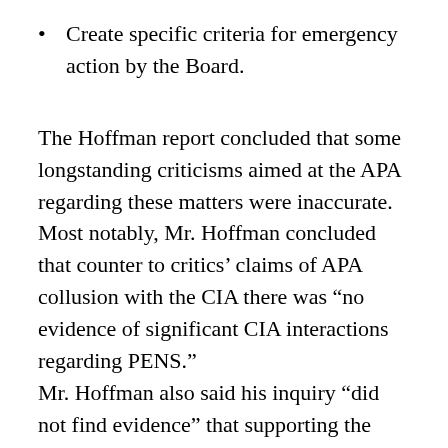Create specific criteria for emergency action by the Board.
The Hoffman report concluded that some longstanding criticisms aimed at the APA regarding these matters were inaccurate. Most notably, Mr. Hoffman concluded that counter to critics’ claims of APA collusion with the CIA there was “no evidence of significant CIA interactions regarding PENS.” Mr. Hoffman also said his inquiry “did not find evidence” that supporting the Justice Department’s legal rationale for approving abusive interrogation techniques was “part of the thinking or motive of APA officials.” Additionally, the report confirmed that the